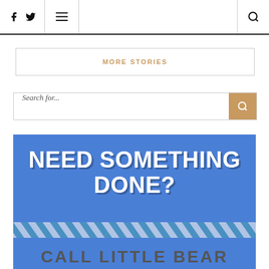Facebook Twitter Menu Search
MORE STORIES
Search for...
[Figure (infographic): Blue advertisement banner with bold white text reading 'NEED SOMETHING DONE?' above a diagonal hatch stripe band and partial text 'CALL LITTLE BEAR' at the bottom]